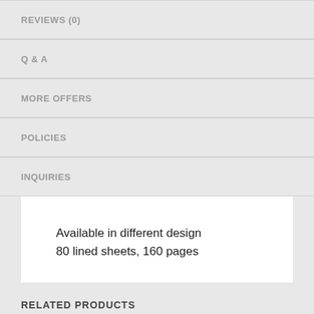REVIEWS (0)
Q & A
MORE OFFERS
POLICIES
INQUIRIES
Available in different design
80 lined sheets, 160 pages
RELATED PRODUCTS
[Figure (photo): Two product thumbnail images with heart/wishlist buttons]